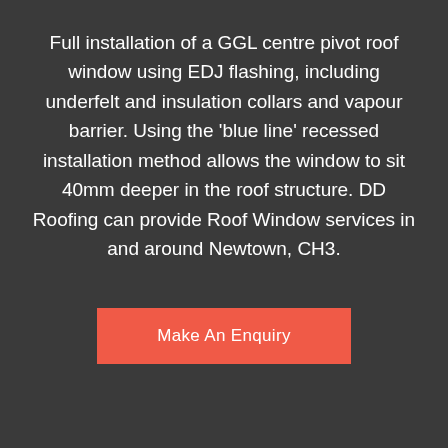Full installation of a GGL centre pivot roof window using EDJ flashing, including underfelt and insulation collars and vapour barrier. Using the 'blue line' recessed installation method allows the window to sit 40mm deeper in the roof structure. DD Roofing can provide Roof Window services in and around Newtown, CH3.
Make An Enquiry